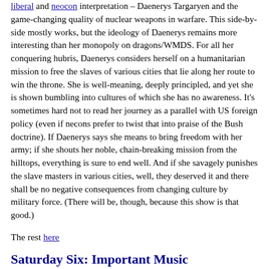liberal and neocon interpretation – Daenerys Targaryen and the game-changing quality of nuclear weapons in warfare. This side-by-side mostly works, but the ideology of Daenerys remains more interesting than her monopoly on dragons/WMDS. For all her conquering hubris, Daenerys considers herself on a humanitarian mission to free the slaves of various cities that lie along her route to win the throne. She is well-meaning, deeply principled, and yet she is shown bumbling into cultures of which she has no awareness. It's sometimes hard not to read her journey as a parallel with US foreign policy (even if necons prefer to twist that into praise of the Bush doctrine). If Daenerys says she means to bring freedom with her army; if she shouts her noble, chain-breaking mission from the hilltops, everything is sure to end well. And if she savagely punishes the slave masters in various cities, well, they deserved it and there shall be no negative consequences from changing culture by military force. (There will be, though, because this show is that good.)
The rest here
Saturday Six: Important Music